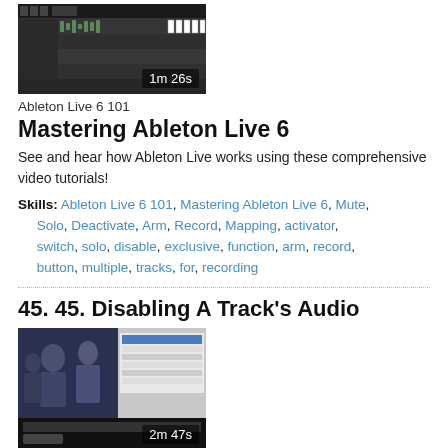[Figure (screenshot): Video thumbnail for Ableton Live 6 tutorial showing software interface, duration 1m 26s]
Ableton Live 6 101
Mastering Ableton Live 6
See and hear how Ableton Live works using these comprehensive video tutorials!
Skills: Ableton Live 6 101, Mastering Ableton Live 6, Mute, Solo, Deactivate, Arm, Record, Mapping, activator, switch, solo, disable, exclusive, function, arm, record, button, multiple, tracks, for, recording
45. 45. Disabling A Track's Audio
[Figure (screenshot): Video thumbnail for iMovie tutorial showing software interface with people, duration 2m 47s]
iMovie 101
Mastering iMovie '06
iMovie is more than just a video editing program, it's the new-school tool for telling stories, and everyone can use it, because it